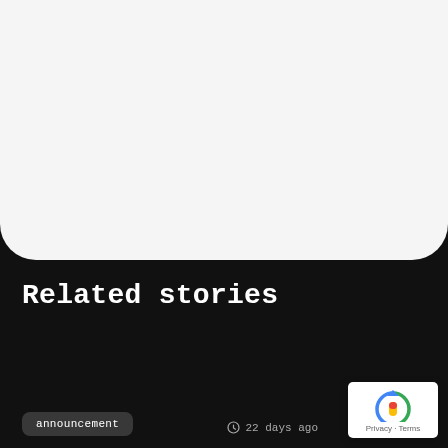Hiro  Mempool
Only relevant communications. We promise we won't spam.
[Figure (screenshot): Subscribe button with arrow icon in a pill/rounded rectangle shape]
Related stories
announcement
22 days ago
[Figure (logo): Google reCAPTCHA badge with Privacy and Terms links]